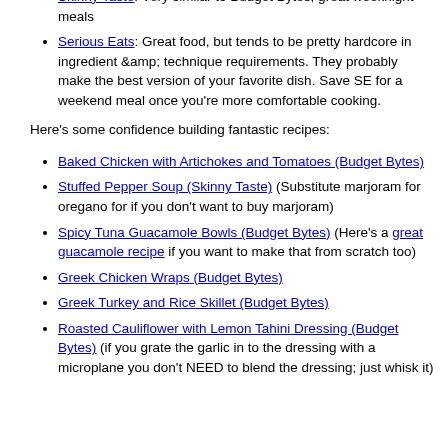her recipes. They're beginner friendly and very well written.
At least until you develop the sense of what makes recipes good, avoid YouTube, gif recipes, Pintrest, and the obnoxious blogs full of too-well-staged-photos. They're interested in views and shares, not cooking.
Here's some other sites that produce consistently good food:
Simply Recipes: Traditional American food
Skinny Taste: Very similar to Budget Bytes, great weeknight meals
Serious Eats: Great food, but tends to be pretty hardcore in ingredient &amp; technique requirements. They probably make the best version of your favorite dish. Save SE for a weekend meal once you're more comfortable cooking.
Here's some confidence building fantastic recipes:
Baked Chicken with Artichokes and Tomatoes (Budget Bytes)
Stuffed Pepper Soup (Skinny Taste) (Substitute marjoram for oregano for if you don't want to buy marjoram)
Spicy Tuna Guacamole Bowls (Budget Bytes) (Here's a great guacamole recipe if you want to make that from scratch too)
Greek Chicken Wraps (Budget Bytes)
Greek Turkey and Rice Skillet (Budget Bytes)
Roasted Cauliflower with Lemon Tahini Dressing (Budget Bytes) (if you grate the garlic in to the dressing with a microplane you don't NEED to blend the dressing; just whisk it)